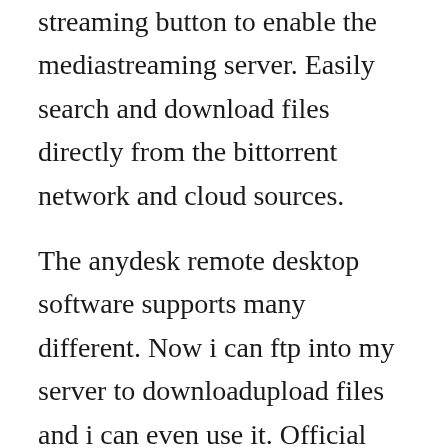streaming button to enable the mediastreaming server. Easily search and download files directly from the bittorrent network and cloud sources.
The anydesk remote desktop software supports many different. Now i can ftp into my server to downloadupload files and i can even use it. Official dlna media streaming software for samsung televisions. With the expansion of available bandwidth globally, it is currently possible to receive more files and multimedia content. File sharing software